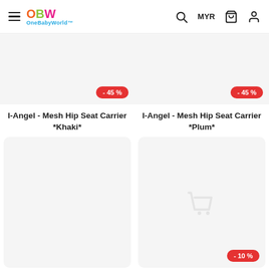OneBabyWorld — MYR
[Figure (screenshot): Product listing: I-Angel - Mesh Hip Seat Carrier *Khaki* with -45% badge, original price RM599.00, sale price RM329.00]
[Figure (screenshot): Product listing: I-Angel - Mesh Hip Seat Carrier *Plum* with -45% badge, original price RM599.00, sale price RM329.00]
[Figure (screenshot): Product placeholder card with cart icon and -45% badge]
[Figure (screenshot): Product placeholder card with cart icon and -10% badge]